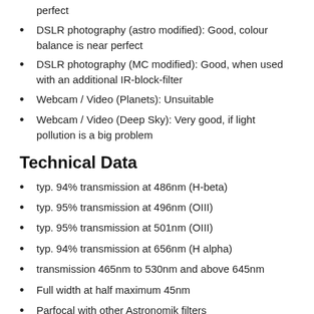perfect
DSLR photography (astro modified): Good, colour balance is near perfect
DSLR photography (MC modified): Good, when used with an additional IR-block-filter
Webcam / Video (Planets): Unsuitable
Webcam / Video (Deep Sky): Very good, if light pollution is a big problem
Technical Data
typ. 94% transmission at 486nm (H-beta)
typ. 95% transmission at 496nm (OIII)
typ. 95% transmission at 501nm (OIII)
typ. 94% transmission at 656nm (H alpha)
transmission 465nm to 530nm and above 645nm
Full width at half maximum 45nm
Parfocal with other Astronomik filters
Glass thickness: 1mm